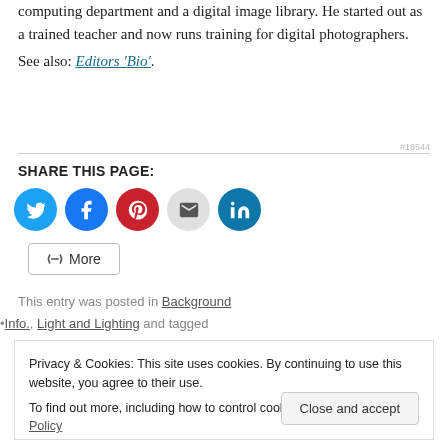computing department and a digital image library. He started out as a trained teacher and now runs training for digital photographers.
See also: Editors 'Bio'.
SHARE THIS PAGE:
[Figure (infographic): Social sharing buttons: Twitter (blue), Facebook (blue), Pinterest (red), Email (grey), LinkedIn (teal), and a More button]
This entry was posted in Background
•Info., Light and Lighting and tagged
Privacy & Cookies: This site uses cookies. By continuing to use this website, you agree to their use. To find out more, including how to control cookies, see here: Cookie Policy
Close and accept